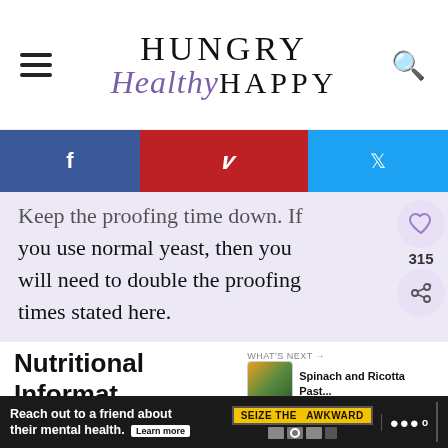Hungry Healthy Happy
Keep the proofing time down. If you use normal yeast, then you will need to double the proofing times stated here.
Nutritional Information
Serving: 1portion | Calories: 281kcal
Reach out to a friend about their mental health. Learn more | SEIZE THE AWKWARD